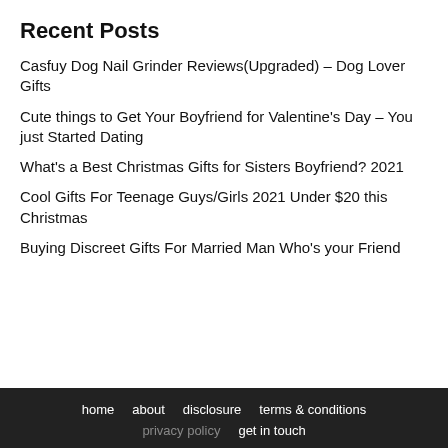Recent Posts
Casfuy Dog Nail Grinder Reviews(Upgraded) – Dog Lover Gifts
Cute things to Get Your Boyfriend for Valentine's Day – You just Started Dating
What's a Best Christmas Gifts for Sisters Boyfriend? 2021
Cool Gifts For Teenage Guys/Girls 2021 Under $20 this Christmas
Buying Discreet Gifts For Married Man Who's your Friend
home   about   disclosure   terms & conditions   privacy policy   get in touch